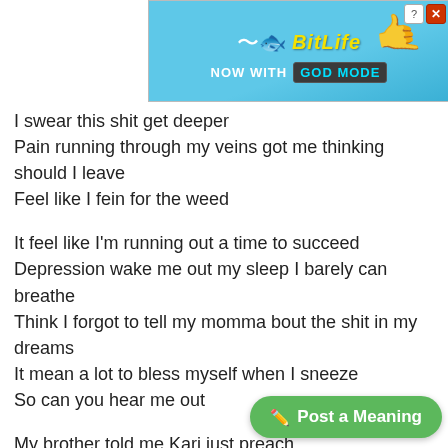[Figure (screenshot): BitLife advertisement banner with 'NOW WITH GOD MODE' text on blue background]
I swear this shit get deeper
Pain running through my veins got me thinking should I leave
Feel like I fein for the weed
It feel like I'm running out a time to succeed
Depression wake me out my sleep I barely can breathe
Think I forgot to tell my momma bout the shit in my dreams
It mean a lot to bless myself when I sneeze
So can you hear me out
My brother told me Kari just preach
Me & the mic inside the booth ain't got my phone or no weed
Swear I regret to put my heart on
[Figure (screenshot): Green 'Post a Meaning' button in bottom right corner]